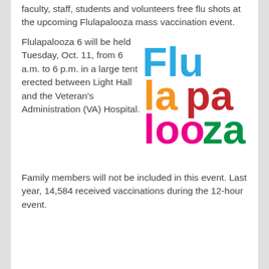faculty, staff, students and volunteers free flu shots at the upcoming Flulapalooza mass vaccination event.
Flulapalooza 6 will be held Tuesday, Oct. 11, from 6 a.m. to 6 p.m. in a large tent erected between Light Hall and the Veteran's Administration (VA) Hospital.
[Figure (logo): Flulapalooza logo with colorful stacked letters: 'Flu' in blue, 'la' in orange, 'pa' in red, 'loo' in magenta/pink, 'za' in green, on white background]
Family members will not be included in this event. Last year, 14,584 received vaccinations during the 12-hour event.